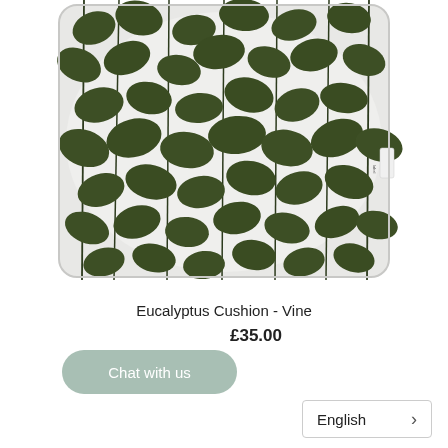[Figure (photo): A square decorative cushion with a white/light grey background featuring a repeating dark olive green botanical leaf/vine pattern. The leaves are rounded and arranged on thin stems running vertically. A small label tag is visible on the right side of the cushion.]
Eucalyptus Cushion - Vine
£35.00
Chat with us
English >